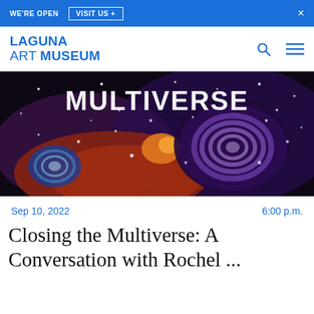WE'RE OPEN  VISIT US +  ×
[Figure (logo): Laguna Art Museum logo with blue text showing LAGUNA ART MUSEUM with search and hamburger menu icons]
[Figure (photo): Close-up painting of cosmic/space scene with text MULTIVERSE at top, featuring swirling planets, stars, and colorful nebula imagery on dark background]
Sep 10, 2022     6:00 p.m.
Closing the Multiverse: A Conversation with Rochel ...